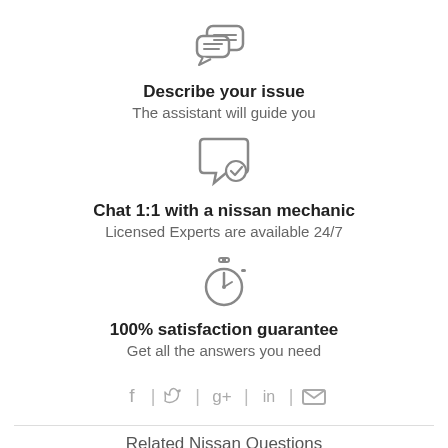[Figure (illustration): Chat/message bubbles icon in grey]
Describe your issue
The assistant will guide you
[Figure (illustration): Chat bubble with checkmark icon in grey]
Chat 1:1 with a nissan mechanic
Licensed Experts are available 24/7
[Figure (illustration): Stopwatch/timer icon in grey]
100% satisfaction guarantee
Get all the answers you need
[Figure (infographic): Social media icons row: Facebook, Twitter, Google+, LinkedIn, Email]
Related Nissan Questions